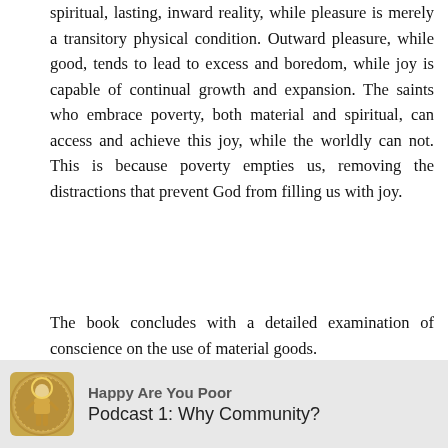spiritual, lasting, inward reality, while pleasure is merely a transitory physical condition. Outward pleasure, while good, tends to lead to excess and boredom, while joy is capable of continual growth and expansion. The saints who embrace poverty, both material and spiritual, can access and achieve this joy, while the worldly can not. This is because poverty empties us, removing the distractions that prevent God from filling us with joy.
The book concludes with a detailed examination of conscience on the use of material goods.
Listen to our podcast on voluntary poverty here.
Go to the main page
[Figure (logo): Circular seal/logo for Happy Are You Poor podcast with religious imagery]
Happy Are You Poor
Podcast 1: Why Community?